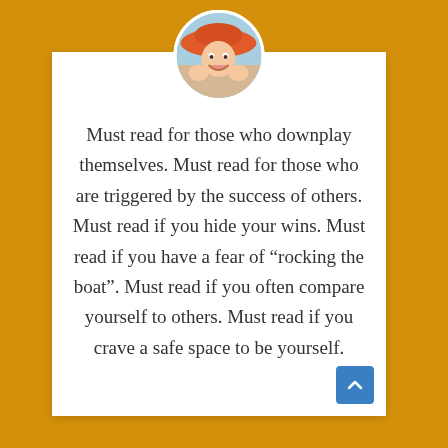[Figure (photo): Circular profile photo of a woman wearing an orange/red wide-brim hat, smiling with hands on cheeks, set against a light blue/beach background.]
Must read for those who downplay themselves. Must read for those who are triggered by the success of others. Must read if you hide your wins. Must read if you have a fear of “rocking the boat”. Must read if you often compare yourself to others. Must read if you crave a safe space to be yourself.